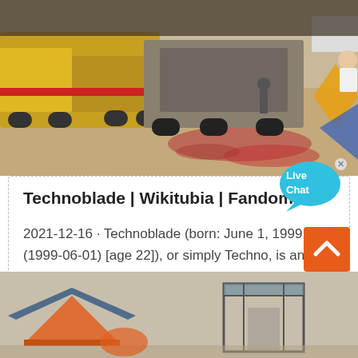[Figure (photo): Outdoor scene showing heavy machinery/trucks on sandy ground, with scattered red objects and a yellow diamond-shaped logo partially visible on the right side.]
[Figure (other): Live Chat speech bubble icon in cyan/blue color with white text 'Live Chat' and a small X close button nearby.]
Technoblade | Wikitubia | Fandom
2021-12-16 · Technoblade (born: June 1, 1999 (1999-06-01) [age 22]), or simply Techno, is an American Gamer and a r known for his Minecraf...
[Figure (other): Orange back-to-top arrow button (chevron up) on the right side.]
[Figure (photo): Bottom portion showing two outdoor structures/tents — an orange tent-like structure on the left and a gray metal frame structure on the right.]